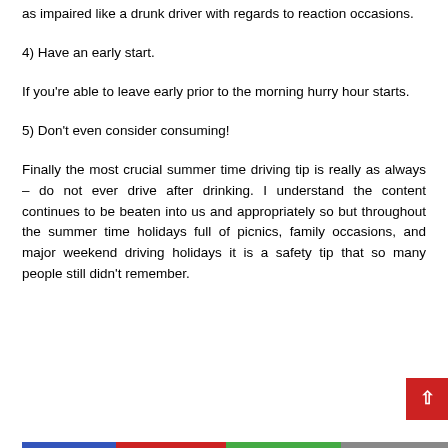as impaired like a drunk driver with regards to reaction occasions.
4) Have an early start.
If you're able to leave early prior to the morning hurry hour starts.
5) Don't even consider consuming!
Finally the most crucial summer time driving tip is really as always – do not ever drive after drinking. I understand the content continues to be beaten into us and appropriately so but throughout the summer time holidays full of picnics, family occasions, and major weekend driving holidays it is a safety tip that so many people still didn't remember.